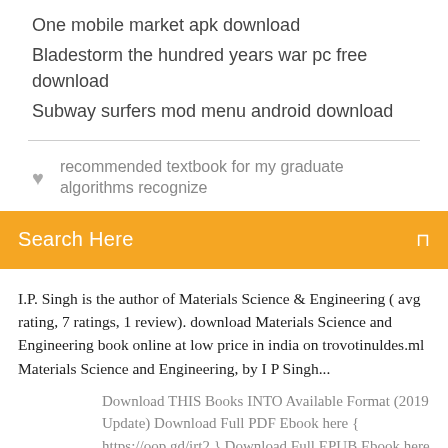One mobile market apk download
Bladestorm the hundred years war pc free download
Subway surfers mod menu android download
recommended textbook for my graduate algorithms recognize
Search Here
I.P. Singh is the author of Materials Science & Engineering ( avg rating, 7 ratings, 1 review). download Materials Science and Engineering book online at low price in india on trovotinuldes.ml Materials Science and Engineering, by I P Singh...
Download THIS Books INTO Available Format (2019 Update) Download Full PDF Ebook here { https://oop.gd/irt2 } Download Full EPUB Ebook here